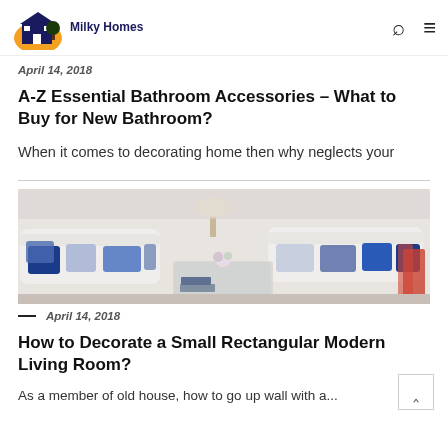Milky Homes
April 14, 2018
A-Z Essential Bathroom Accessories – What to Buy for New Bathroom?
When it comes to decorating home then why neglects your
[Figure (photo): Living room with white sofas decorated with blue and white patterned cushions, a glass coffee table, and a lamp]
— April 14, 2018
How to Decorate a Small Rectangular Modern Living Room?
As a member of old house, how to go up wall with a...